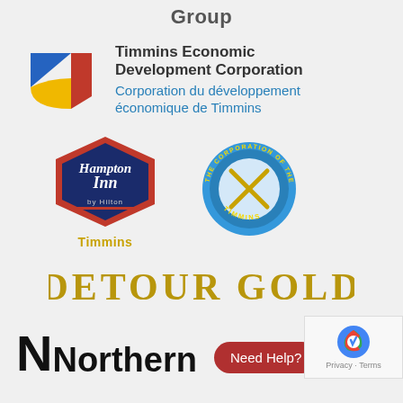Group
[Figure (logo): Timmins Economic Development Corporation logo with colorful geometric shapes (blue triangle, red triangle, yellow/gold quarter circle)]
Timmins Economic Development Corporation
Corporation du développement économique de Timmins
[Figure (logo): Hampton Inn by Hilton logo - hexagon shaped red border with dark blue background and white script text, with 'Timmins' label below]
[Figure (logo): The Corporation of the City of Timmins circular seal/badge with blue border, gold lettering, and crossed pickaxes in center]
[Figure (logo): Detour Gold logo in gold/yellow bold uppercase text]
[Figure (logo): N Northern logo - large bold black N followed by 'Northern' text, partially visible at bottom]
Need Help?